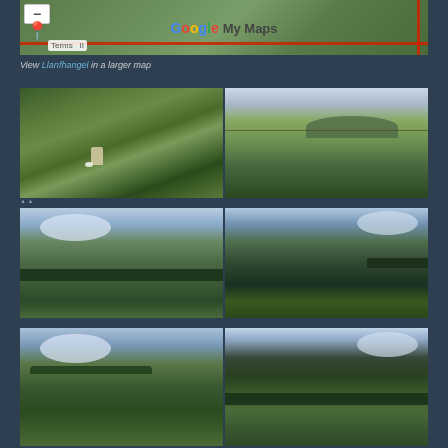[Figure (map): Google My Maps satellite view showing terrain with red boundary lines, map controls, and Google My Maps logo]
View Llanfhangel in a larger map
[Figure (photo): Two landscape photos side by side: left shows close-up of stone marker/burial mound with moss, right shows panoramic view of green fields with fence line and hills]
[Figure (photo): Two landscape photos side by side showing rolling green farmland with treelines, clouds, and distant hills]
[Figure (photo): Two landscape photos side by side showing panoramic views of valley and farmland with hills in distance]